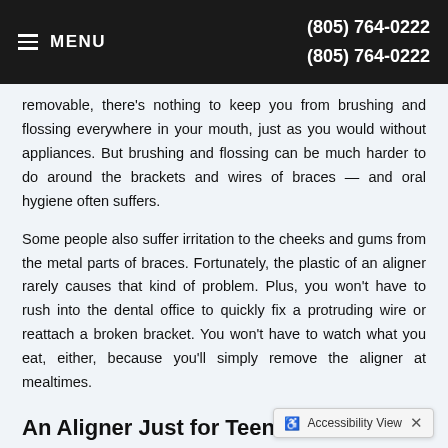MENU   (805) 764-0222   (805) 764-0222
removable, there's nothing to keep you from brushing and flossing everywhere in your mouth, just as you would without appliances. But brushing and flossing can be much harder to do around the brackets and wires of braces — and oral hygiene often suffers.
Some people also suffer irritation to the cheeks and gums from the metal parts of braces. Fortunately, the plastic of an aligner rarely causes that kind of problem. Plus, you won't have to rush into the dental office to quickly fix a protruding wire or reattach a broken bracket. You won't have to watch what you eat, either, because you'll simply remove the aligner at mealtimes.
An Aligner Just for Teens